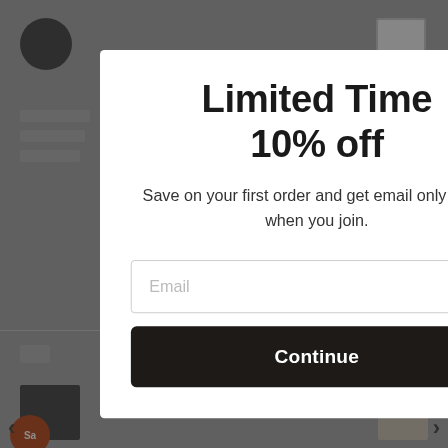[Figure (screenshot): Background website page with navigation icon, cart icon, text lines, divider, section label, product images, sale badge, and navigation arrows, all dimmed behind a modal overlay.]
Limited Time
10% off
Save on your first order and get email only offers when you join.
Email
Continue